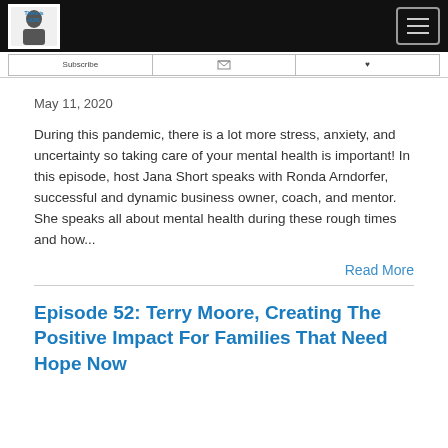[Logo and navigation header]
May 11, 2020
During this pandemic, there is a lot more stress, anxiety, and uncertainty so taking care of your mental health is important! In this episode, host Jana Short speaks with Ronda Arndorfer, successful and dynamic business owner, coach, and mentor. She speaks all about mental health during these rough times and how...
Read More
Episode 52: Terry Moore, Creating The Positive Impact For Families That Need Hope Now